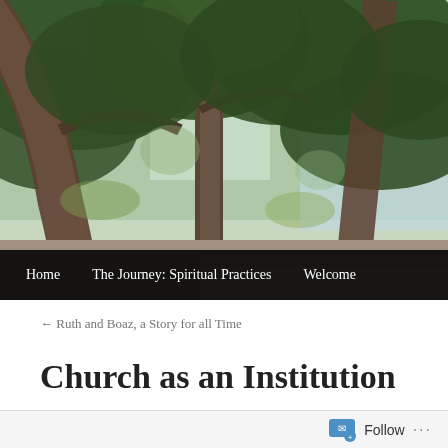[Figure (photo): Upward-looking photo through large twisted oak trees with dense green canopy against a bright sky. A rooftop is visible at the bottom of the frame.]
Home   The Journey: Spiritual Practices   Welcome
← Ruth and Boaz, a Story for all Time
Church as an Institution